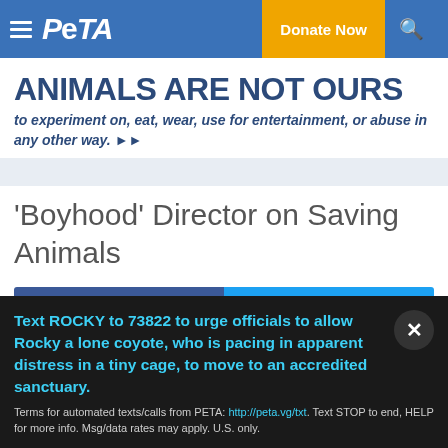PETA — Donate Now
ANIMALS ARE NOT OURS
to experiment on, eat, wear, use for entertainment, or abuse in any other way.
'Boyhood' Director on Saving Animals
Share  Tweet
Text ROCKY to 73822 to urge officials to allow Rocky a lone coyote, who is pacing in apparent distress in a tiny cage, to move to an accredited sanctuary.
Terms for automated texts/calls from PETA: http://peta.vg/txt. Text STOP to end, HELP for more info. Msg/data rates may apply. U.S. only.